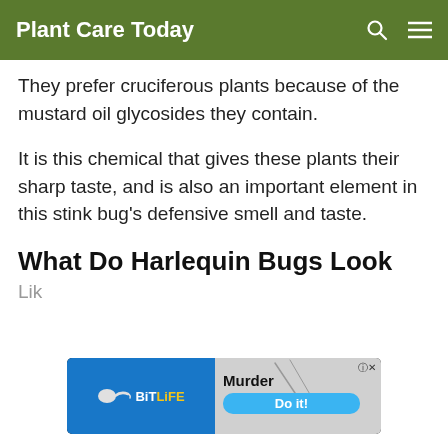Plant Care Today
They prefer cruciferous plants because of the mustard oil glycosides they contain.
It is this chemical that gives these plants their sharp taste, and is also an important element in this stink bug's defensive smell and taste.
What Do Harlequin Bugs Look Like
[Figure (screenshot): BitLife advertisement banner showing the BitLife logo with a sperm icon, and text 'Murder Do it!' on a blue button, with a close (X) button in the corner.]